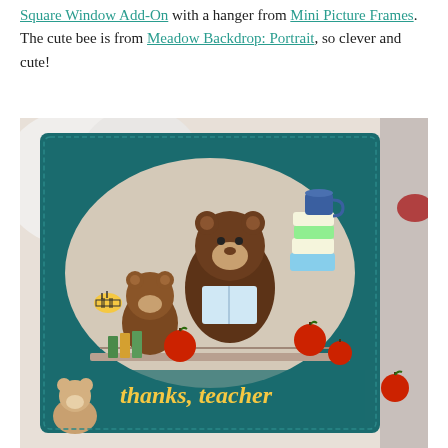Square Window Add-On with a hanger from Mini Picture Frames. The cute bee is from Meadow Backdrop: Portrait, so clever and cute!
[Figure (photo): A handmade greeting card with a teal/dark green background featuring a circular die-cut window. Inside the window are illustrated bears reading books, stacks of books with a blue mug on top, red apples, and yellow text reading 'thanks, teacher'. A small bear is visible in the lower left corner outside the window. The card sits on a light fabric background.]